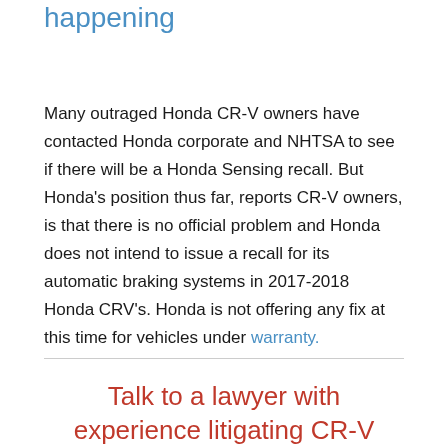happening
Many outraged Honda CR-V owners have contacted Honda corporate and NHTSA to see if there will be a Honda Sensing recall. But Honda's position thus far, reports CR-V owners, is that there is no official problem and Honda does not intend to issue a recall for its automatic braking systems in 2017-2018 Honda CRV's. Honda is not offering any fix at this time for vehicles under warranty.
Talk to a lawyer with experience litigating CR-V class actions